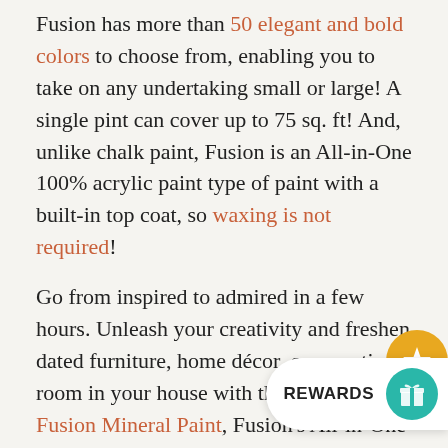Fusion has more than 50 elegant and bold colors to choose from, enabling you to take on any undertaking small or large!  A single pint can cover up to 75 sq. ft!  And, unlike chalk paint, Fusion is an All-in-One 100% acrylic paint type of paint with a built-in top coat, so waxing is not required!
Go from inspired to admired in a few hours. Unleash your creativity and freshen dated furniture, home décor, or an entire room in your house with the best-in-class Fusion Mineral Paint, Fusion's All-in-One Stain and Finishing Oils, and gorgeous Fusion Waxes. Live happily with things you love, and DIY the rest by adding color, reinventing, and refinishing while enjoying your time to create. Pick your project, bring home a pint of Mineral Paint, and Paint it Beautiful!